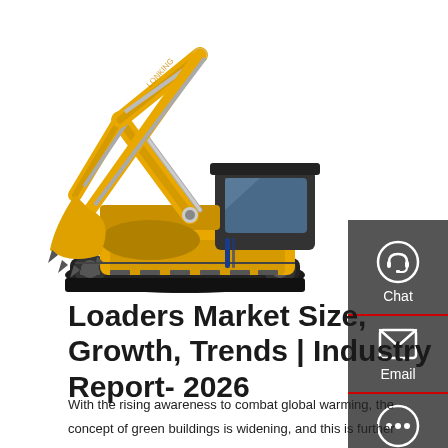[Figure (photo): Orange/yellow excavator (construction loader/mini excavator) on white background, with articulated arm raised and bucket visible on the left side, cab in center-right, and tracked undercarriage.]
[Figure (infographic): Dark grey vertical side panel with three icons and labels: Chat (headset icon with red underline), Email (envelope icon with red underline), Contact (speech bubble with dots icon). Each section separated by a red horizontal line.]
Loaders Market Size, Growth, Trends | Industry Report- 2026
With the rising awareness to combat global warming, the concept of green buildings is widening, and this is further propelling the demand for loaders, thus, boosting the global